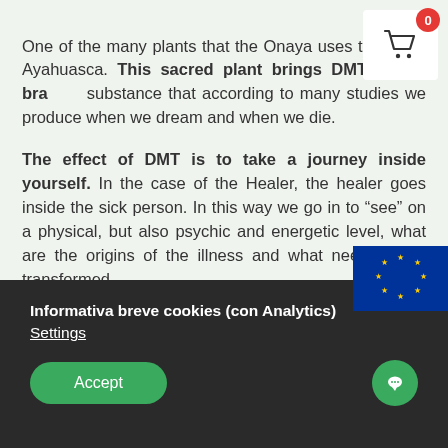One of the many plants that the Onaya uses to [heal is] Ayahuasca. This sacred plant brings DMT to the bra[in], a substance that according to many studies we produce when we dream and when we die.

The effect of DMT is to take a journey inside yourself. In the case of the Healer, the healer goes inside the sick person. In this way we go in to “see” on a physical, but also psychic and energetic level, what are the origins of the illness and what needs to be transformed.

This plant was originally used only by the Healer during
[Figure (other): Shopping cart icon with red badge showing number 0, displayed in a white box in the top-right corner of the page]
[Figure (other): European Union flag displayed in the lower right area of the main content section]
Informativa breve cookies (con Analytics)
Settings
Accept